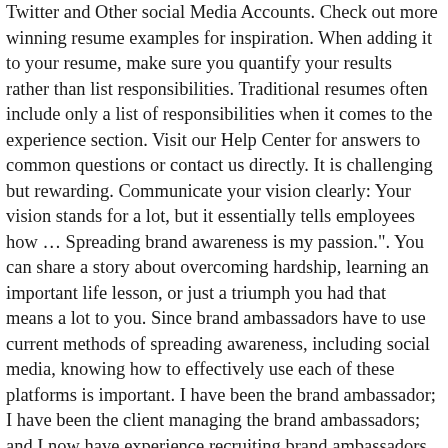Twitter and Other social Media Accounts. Check out more winning resume examples for inspiration. When adding it to your resume, make sure you quantify your results rather than list responsibilities. Traditional resumes often include only a list of responsibilities when it comes to the experience section. Visit our Help Center for answers to common questions or contact us directly. It is challenging but rewarding. Communicate your vision clearly: Your vision stands for a lot, but it essentially tells employees how … Spreading brand awareness is my passion.". You can share a story about overcoming hardship, learning an important life lesson, or just a triumph you had that means a lot to you. Since brand ambassadors have to use current methods of spreading awareness, including social media, knowing how to effectively use each of these platforms is important. I have been the brand ambassador; I have been the client managing the brand ambassadors; and I now have experience recruiting brand ambassadors and overseeing an event staffing agency. If your talent is creating a brand, ours is creating top resumes! Developed the back-end of an application using Laravel 5 and MySQL), Examples of what makes you unique (What a day in your life looks like or your